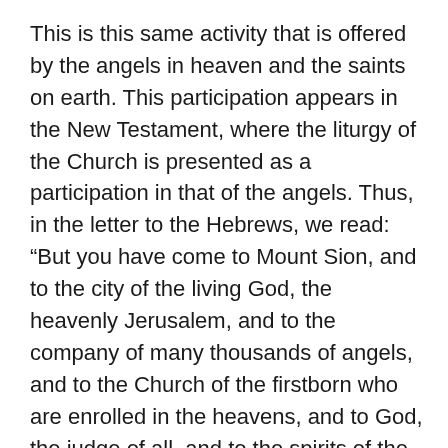This is this same activity that is offered by the angels in heaven and the saints on earth. This participation appears in the New Testament, where the liturgy of the Church is presented as a participation in that of the angels. Thus, in the letter to the Hebrews, we read: “But you have come to Mount Sion, and to the city of the living God, the heavenly Jerusalem, and to the company of many thousands of angels, and to the Church of the firstborn who are enrolled in the heavens, and to God, the judge of all, and to the spirits of the just made perfect, and to Jesus, mediator of a new testament, and to a sprinkling of blood which speaks better than Abel.”
As for the Apocalypse, it is the vision of the Christian Sunday worship that the visionary sees as prolonged in the liturgy of heaven.